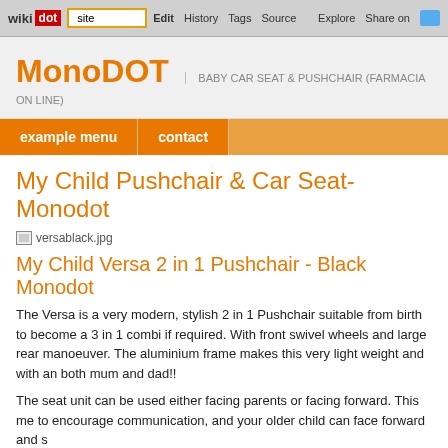wikidot | site | Edit | History | Tags | Source | Explore | Share on Twitter
MonoDOT | BABY CAR SEAT & PUSHCHAIR (FARMACIA ON LINE)
example menu | contact
My Child Pushchair & Car Seat-Monodot
[Figure (photo): Image placeholder: versablack.jpg]
My Child Versa 2 in 1 Pushchair - Black Monodot
The Versa is a very modern, stylish 2 in 1 Pushchair suitable from birth to become a 3 in 1 combi if required. With front swivel wheels and large rear manoeuver. The aluminium frame makes this very light weight and with an both mum and dad!!
The seat unit can be used either facing parents or facing forward. This me to encourage communication, and your older child can face forward and s
Features:
Fully reclining seat unit suitable from birth
Comes complete with hood and raincover